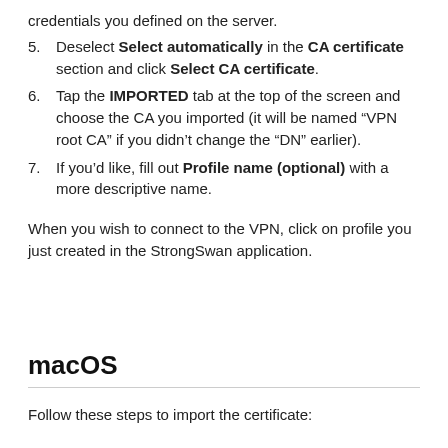5. Deselect Select automatically in the CA certificate section and click Select CA certificate.
6. Tap the IMPORTED tab at the top of the screen and choose the CA you imported (it will be named “VPN root CA” if you didn’t change the “DN” earlier).
7. If you’d like, fill out Profile name (optional) with a more descriptive name.
When you wish to connect to the VPN, click on profile you just created in the StrongSwan application.
macOS
Follow these steps to import the certificate: